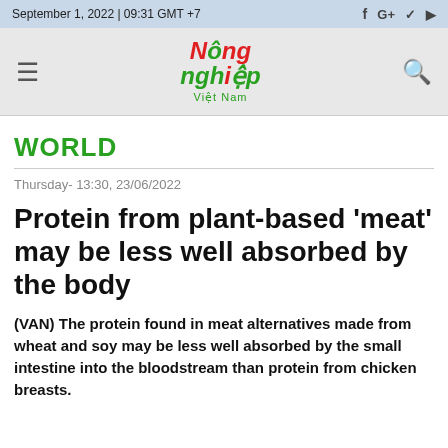September 1, 2022 | 09:31 GMT +7
[Figure (logo): Nong nghiep Viet Nam news website logo with hamburger menu and search icon]
WORLD
Thursday- 13:30, 23/06/2022
Protein from plant-based 'meat' may be less well absorbed by the body
(VAN) The protein found in meat alternatives made from wheat and soy may be less well absorbed by the small intestine into the bloodstream than protein from chicken breasts.